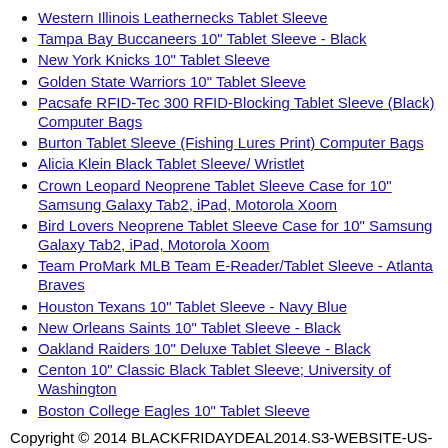Western Illinois Leathernecks Tablet Sleeve
Tampa Bay Buccaneers 10" Tablet Sleeve - Black
New York Knicks 10" Tablet Sleeve
Golden State Warriors 10" Tablet Sleeve
Pacsafe RFID-Tec 300 RFID-Blocking Tablet Sleeve (Black) Computer Bags
Burton Tablet Sleeve (Fishing Lures Print) Computer Bags
Alicia Klein Black Tablet Sleeve/ Wristlet
Crown Leopard Neoprene Tablet Sleeve Case for 10" Samsung Galaxy Tab2, iPad, Motorola Xoom
Bird Lovers Neoprene Tablet Sleeve Case for 10" Samsung Galaxy Tab2, iPad, Motorola Xoom
Team ProMark MLB Team E-Reader/Tablet Sleeve - Atlanta Braves
Houston Texans 10" Tablet Sleeve - Navy Blue
New Orleans Saints 10" Tablet Sleeve - Black
Oakland Raiders 10" Deluxe Tablet Sleeve - Black
Centon 10" Classic Black Tablet Sleeve; University of Washington
Boston College Eagles 10" Tablet Sleeve
Copyright © 2014 BLACKFRIDAYDEAL2014.S3-WEBSITE-US-WEST-2.AMAZONAWS.COM | 2014 Black Friday Duke Blue Devils 10" Tablet Sleeve Instantly